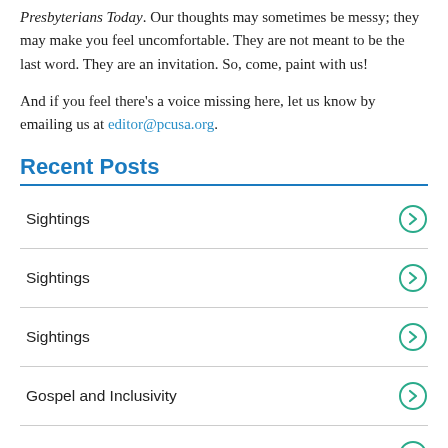Presbyterians Today. Our thoughts may sometimes be messy; they may make you feel uncomfortable. They are not meant to be the last word. They are an invitation. So, come, paint with us!
And if you feel there's a voice missing here, let us know by emailing us at editor@pcusa.org.
Recent Posts
Sightings
Sightings
Sightings
Gospel and Inclusivity
Sightings